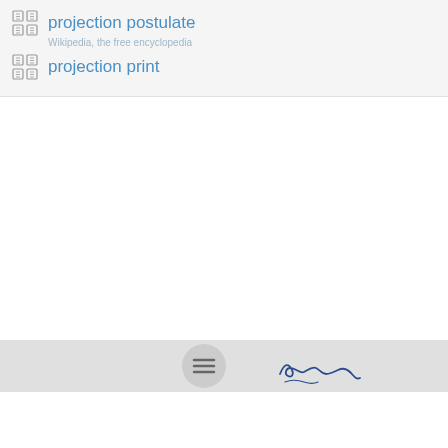projection postulate
projection print
[Figure (screenshot): Mobile app bottom navigation bar with hamburger menu button (circular grey button with three horizontal lines) on left and a hand-drawn signature graphic on the right, on a light grey background strip.]